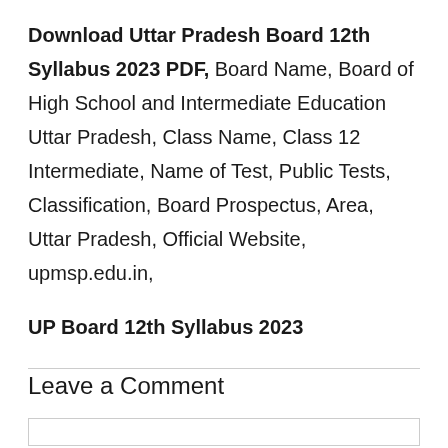Download Uttar Pradesh Board 12th Syllabus 2023 PDF, Board Name, Board of High School and Intermediate Education Uttar Pradesh, Class Name, Class 12 Intermediate, Name of Test, Public Tests, Classification, Board Prospectus, Area, Uttar Pradesh, Official Website, upmsp.edu.in,
UP Board 12th Syllabus 2023
Leave a Comment